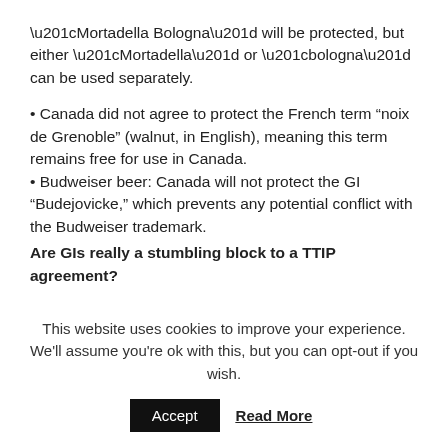“Mortadella Bologna” will be protected, but either “Mortadella” or “bologna” can be used separately.
• Canada did not agree to protect the French term “noix de Grenoble” (walnut, in English), meaning this term remains free for use in Canada.
• Budweiser beer: Canada will not protect the GI “Budejovicke,” which prevents any potential conflict with the Budweiser trademark.
Are GIs really a stumbling block to a TTIP agreement?
This website uses cookies to improve your experience. We’ll assume you’re ok with this, but you can opt-out if you wish.